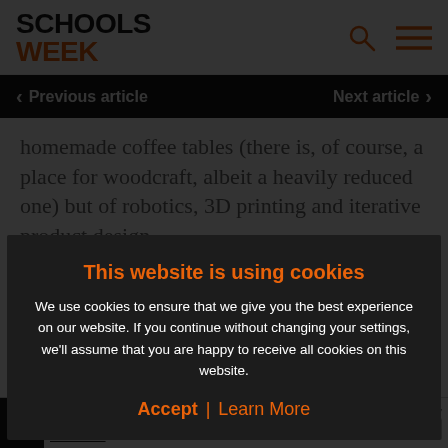SCHOOLS WEEK
< Previous article   Next article >
homemade coffee tables (there is, of course, a place for woodcraft, albeit a heavily reduced one) but of robotics, 3D printing and iterative product design.
[Figure (screenshot): Schools Week Opinion card with orange background and person silhouette]
This website is using cookies
We use cookies to ensure that we give you the best experience on our website. If you continue without changing your settings, we'll assume that you are happy to receive all cookies on this website.
Accept / Learn More
NPO 20... APPLICATIONS NOW OPEN | FUNDRD | APPLY NOW | Funded by